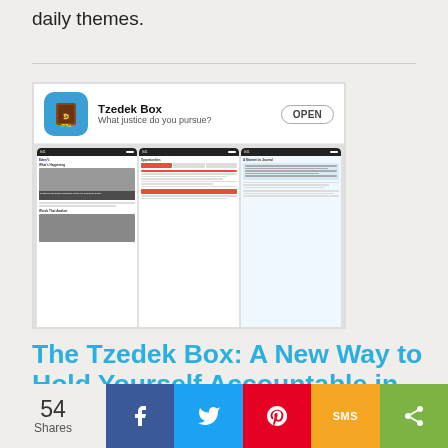daily themes.
[Figure (screenshot): App store listing screenshot for Tzedek Box app showing 'What justice do you pursue?' tagline and OPEN button, with three phone screen previews below showing the app interface.]
The Tzedek Box: A New Way to Hold Yourself Accountable in the Pursuit of Justice
54 Shares